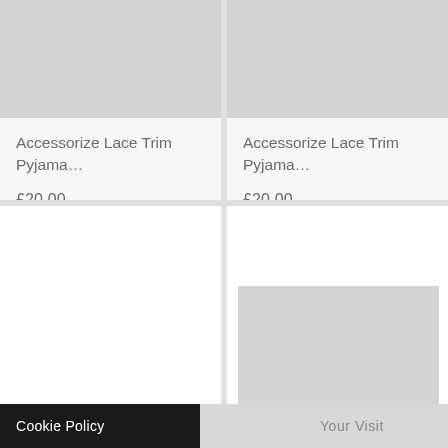[Figure (photo): Product image placeholder (grey rectangle) for top-left product card]
Accessorize Lace Trim Pyjama…
£20.00
[Figure (photo): Product image placeholder (grey rectangle) for top-right product card]
Accessorize Lace Trim Pyjama…
£20.00
[Figure (photo): Bottom-left product card (no image visible, white area)]
[Figure (photo): Product image placeholder (grey rectangle) for bottom-right product card]
Cookie Policy
Your Visit